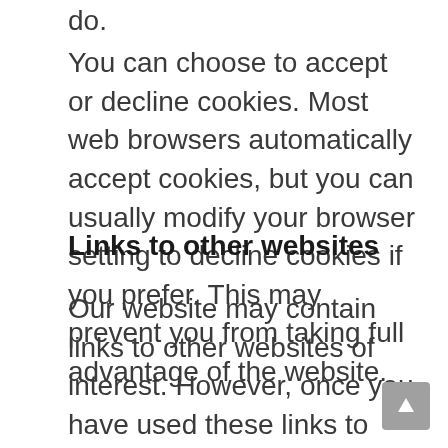do.
You can choose to accept or decline cookies. Most web browsers automatically accept cookies, but you can usually modify your browser setting to decline cookies if you prefer. This may prevent you from taking full advantage of the website.
Links to other websites
Our website may contain links to other websites of interest. However, once you have used these links to leave our site, you should note that we do not have any control over that other website. Therefore, we cannot be responsible for the protection and privacy of any information which you provide whilst visiting those sites and such sites are